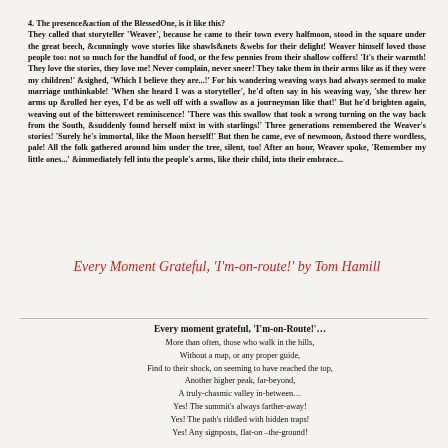4. The presence&action of the BlessedOne, is it like this? They called that storyteller 'Weaver', because he came to their town every halfmoon, stood in the square under the great beech, &cunningly wove stories like shawls&nets &webs for their delight! Weaver himself loved those people too: not so much for the handful of food, or the few pennies from their shallow coffers! 'It's their warmth! They love the stories, they love me! Never complain, never sneer! They take them in their arms like as if they were my children!' &sighed, 'Which I believe they are...!' For his wandering weaving ways had always seemed to make marriage unthinkable! 'When she heard I was a storyteller', he'd often say in his weaving way, 'she threw her arms up &rolled her eyes, I'd be as well off with a swallow as a journeyman like that!' But he'd brighten again, weaving out of the bittersweet reminiscence! 'There was this swallow that took a wrong turning on the way back from the South, &suddenly found herself mixt in with starlings!' Three generations remembered the Weaver's stories! 'Surely he's immortal, like the Moon herself!' But then he came, eve of newmoon, &stood there wordless, pale! All the folk gathered around him under the tree, silent, too! After an hour, Weaver spoke, 'Remember my little ones...' &immediately fell into the people's arms, like their child, into their embrace...
Every Moment Grateful, 'I'm-on-route!' by Tom Hamill
Every moment grateful, 'I'm-on-Route!'...
More than often, those who walk in the hills,
Without a map, or any proper guide,
Find to their shock, on seeming to have reached the top,
Another higher peak, far-beyond,
A truly-chasmic valley in-between...
Yes! The summit's always farther-away!
Yes! The path's riddled with hidden traps!
Yes! Any signposts, flat-on –the-ground!